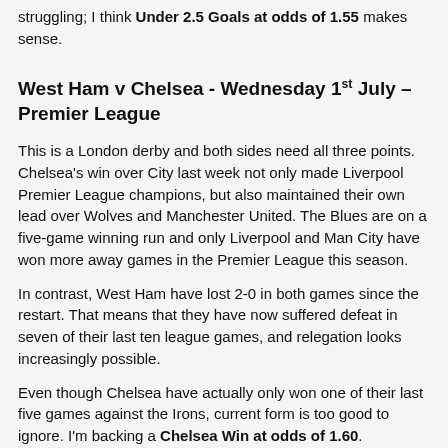struggling. I think Under 2.5 Goals at odds of 1.55 makes sense.
West Ham v Chelsea - Wednesday 1st July – Premier League
This is a London derby and both sides need all three points. Chelsea's win over City last week not only made Liverpool Premier League champions, but also maintained their own lead over Wolves and Manchester United. The Blues are on a five-game winning run and only Liverpool and Man City have won more away games in the Premier League this season.
In contrast, West Ham have lost 2-0 in both games since the restart. That means that they have now suffered defeat in seven of their last ten league games, and relegation looks increasingly possible.
Even though Chelsea have actually only won one of their last five games against the Irons, current form is too good to ignore. I'm backing a Chelsea Win at odds of 1.60.